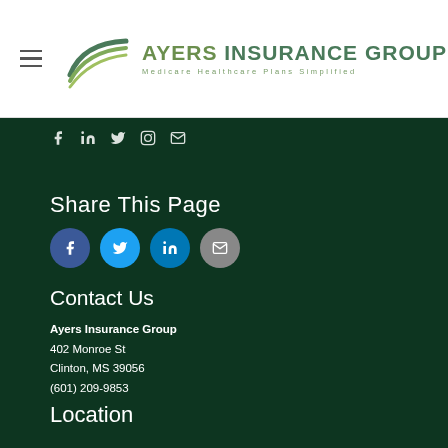[Figure (logo): Ayers Insurance Group logo with swoosh graphic and tagline 'Medicare Healthcare Plans Simplified']
Share This Page
[Figure (other): Social share buttons: Facebook, Twitter, LinkedIn, Email]
Contact Us
Ayers Insurance Group
402 Monroe St
Clinton, MS 39056
(601) 209-9853
Location